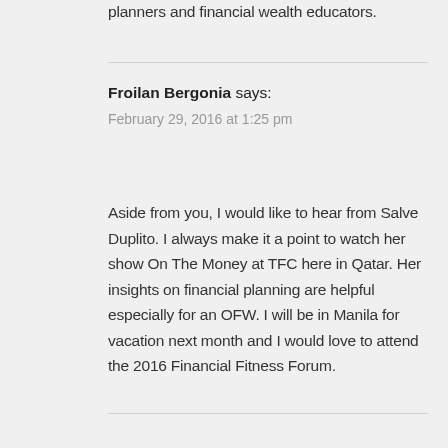planners and financial wealth educators.
Froilan Bergonia says:
February 29, 2016 at 1:25 pm
Aside from you, I would like to hear from Salve Duplito. I always make it a point to watch her show On The Money at TFC here in Qatar. Her insights on financial planning are helpful especially for an OFW. I will be in Manila for vacation next month and I would love to attend the 2016 Financial Fitness Forum.